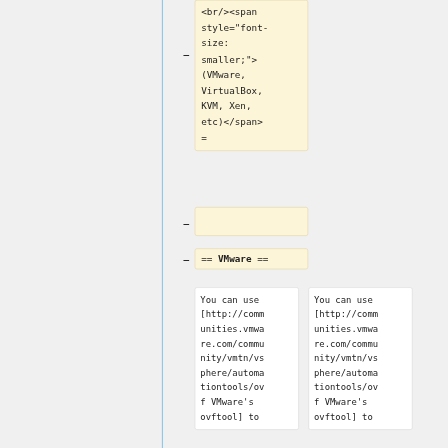<br/><span style="font-size: smaller;">(VMware, VirtualBox, KVM, Xen, etc)</span>
=
== VMware ==
You can use [http://communities.vmware.com/community/vmtn/vsphere/automationtools/ovf VMware's ovftool] to
You can use [http://communities.vmware.com/community/vmtn/vsphere/automationtools/ovf VMware's ovftool] to